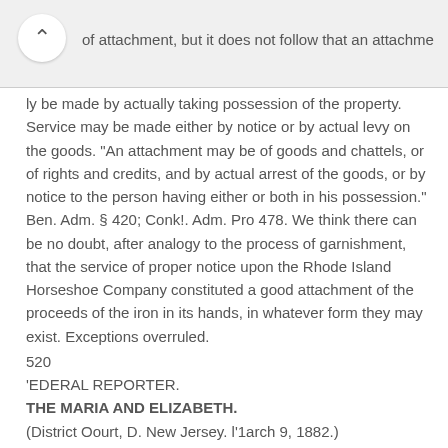of attachment, but it does not follow that an attachment only be made by actually taking possession of the property. Service may be made either by notice or by actual levy on the goods. "An attachment may be of goods and chattels, or of rights and credits, and by actual arrest of the goods, or by notice to the person having either or both in his possession." Ben. Adm. § 420; Conk!. Adm. Pro 478. We think there can be no doubt, after analogy to the process of garnishment, that the service of proper notice upon the Rhode Island Horseshoe Company constituted a good attachment of the proceeds of the iron in its hands, in whatever form they may exist. Exceptions overruled.
520
'EDERAL REPORTER.
THE MARIA AND ELIZABETH.
(District Oourt, D. New Jersey. l'1arch 9, 1882.)
1.
COLLISION-DAMAGES.
In a collision case where the vessel was totally lost, where the proofs fairly show that the vessel was worth to the libellant, at the time of the loss, the sum of $2,800, a decree was ordered to be entered for that amount, although the offending vessel was not.